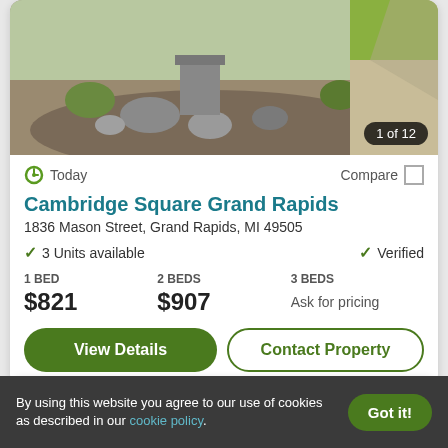[Figure (photo): Exterior landscaping photo of Cambridge Square Grand Rapids showing rocks, mulch, and plants near entrance]
Today
Compare
Cambridge Square Grand Rapids
1836 Mason Street, Grand Rapids, MI 49505
3 Units available
Verified
1 BED
$821
2 BEDS
$907
3 BEDS
Ask for pricing
View Details
Contact Property
Top Rated for Location
By using this website you agree to our use of cookies as described in our cookie policy.
Got it!